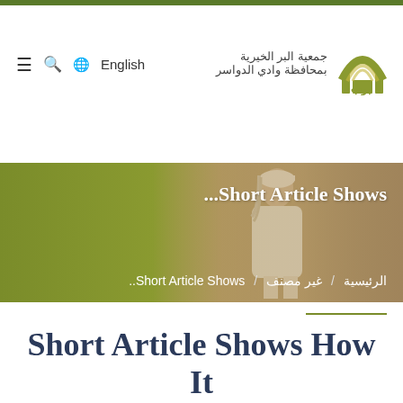جمعية البر الخيرية بمحافظة وادي الدواسر | English
[Figure (photo): Website banner showing an Arabic dignitary in traditional white thobe and headwear, with an olive/gold gradient overlay. Breadcrumb navigation shows: الرئيسية / غير مصنف / ...Short Article Shows]
Short Article Shows How It Can Affect You And The Undeniable Details About Israeli Women